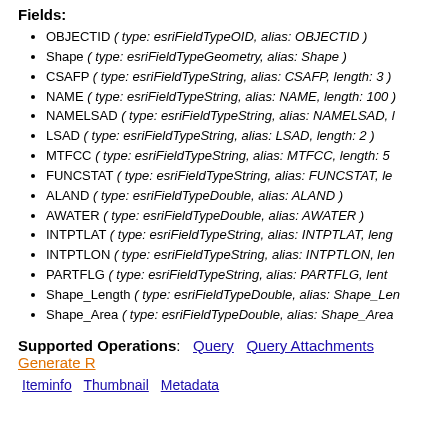Fields:
OBJECTID ( type: esriFieldTypeOID, alias: OBJECTID )
Shape ( type: esriFieldTypeGeometry, alias: Shape )
CSAFP ( type: esriFieldTypeString, alias: CSAFP, length: 3 )
NAME ( type: esriFieldTypeString, alias: NAME, length: 100 )
NAMELSAD ( type: esriFieldTypeString, alias: NAMELSAD, l...
LSAD ( type: esriFieldTypeString, alias: LSAD, length: 2 )
MTFCC ( type: esriFieldTypeString, alias: MTFCC, length: 5 )
FUNCSTAT ( type: esriFieldTypeString, alias: FUNCSTAT, le...
ALAND ( type: esriFieldTypeDouble, alias: ALAND )
AWATER ( type: esriFieldTypeDouble, alias: AWATER )
INTPTLAT ( type: esriFieldTypeString, alias: INTPTLAT, leng...
INTPTLON ( type: esriFieldTypeString, alias: INTPTLON, len...
PARTFLG ( type: esriFieldTypeString, alias: PARTFLG, lengt...
Shape_Length ( type: esriFieldTypeDouble, alias: Shape_Len...
Shape_Area ( type: esriFieldTypeDouble, alias: Shape_Area...
Supported Operations: Query  Query Attachments  Generate R...
Iteminfo  Thumbnail  Metadata